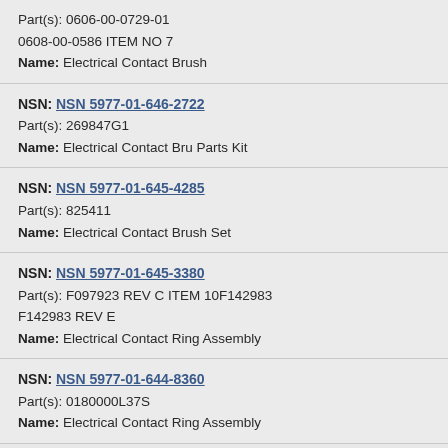Part(s): 0606-00-0729-01
0608-00-0586 ITEM NO 7
Name: Electrical Contact Brush
NSN: NSN 5977-01-646-2722
Part(s): 269847G1
Name: Electrical Contact Bru Parts Kit
NSN: NSN 5977-01-645-4285
Part(s): 825411
Name: Electrical Contact Brush Set
NSN: NSN 5977-01-645-3380
Part(s): F097923 REV C ITEM 10F142983
F142983 REV E
Name: Electrical Contact Ring Assembly
NSN: NSN 5977-01-644-8360
Part(s): 0180000L37S
Name: Electrical Contact Ring Assembly